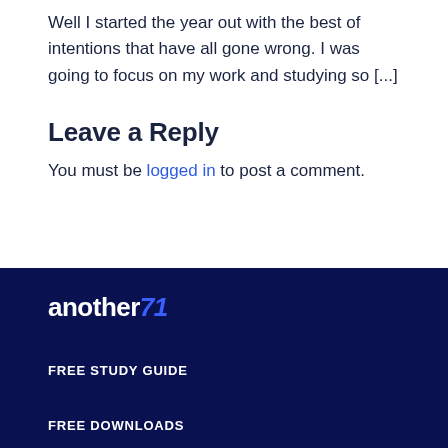Well I started the year out with the best of intentions that have all gone wrong. I was going to focus on my work and studying so [...]
Leave a Reply
You must be logged in to post a comment.
[Figure (logo): another71 logo in white and blue on dark navy background]
FREE STUDY GUIDE
FREE DOWNLOADS